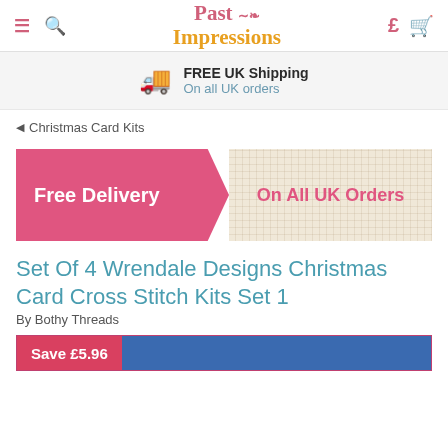Past Impressions
FREE UK Shipping On all UK orders
Christmas Card Kits
[Figure (infographic): Promotional banner with pink left section reading 'Free Delivery' and beige fabric/textured right section reading 'On All UK Orders' in pink text]
Set Of 4 Wrendale Designs Christmas Card Cross Stitch Kits Set 1
By Bothy Threads
Save £5.96